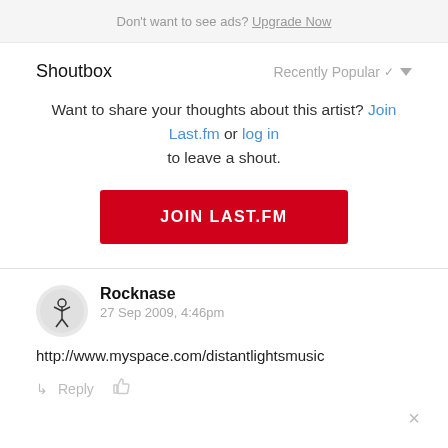Don't want to see ads? Upgrade Now
Shoutbox
Recently Popular
Want to share your thoughts about this artist? Join Last.fm or log in to leave a shout.
JOIN LAST.FM
Rocknase
27 Sep 2009, 4:46pm
http://www.myspace.com/distantlightsmusic
Reply